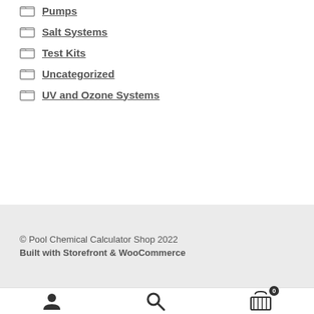Pumps
Salt Systems
Test Kits
Uncategorized
UV and Ozone Systems
© Pool Chemical Calculator Shop 2022
Built with Storefront & WooCommerce